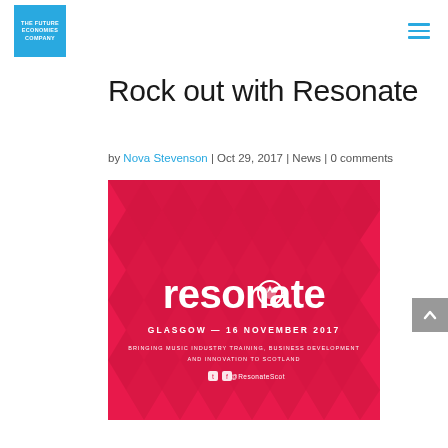THE FUTURE ECONOMIES COMPANY
Rock out with Resonate
by Nova Stevenson | Oct 29, 2017 | News | 0 comments
[Figure (illustration): Resonate event banner — pink/red background with diamond/chevron pattern. Large white text reads 'resonate' with a compass-style logo icon. Below: GLASGOW — 16 NOVEMBER 2017. BRINGING MUSIC INDUSTRY TRAINING, BUSINESS DEVELOPMENT AND INNOVATION TO SCOTLAND. Social icons and @ResonateScot handle.]